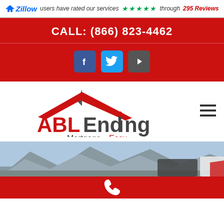Zillow users have rated our services ★★★★★ through 295 Reviews
CALL: (866) 823-4462
[Figure (screenshot): Social media icons: Facebook, Twitter, YouTube]
[Figure (logo): ABLEnding Mortgage. Easy. logo with red house roof graphic]
[Figure (photo): Mountain landscape background photo strip]
[Figure (other): Red footer bar with white phone/call icon]